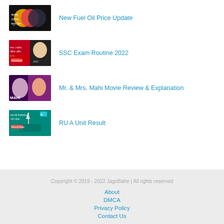New Fuel Oil Price Update
SSC Exam Routine 2022
Mr. & Mrs. Mahi Movie Review & Explanation
RU A Unit Result
Copyright © 2019 - 2022 JagoBahe | All rights reserved
About
DMCA
Privacy Policy
Contact Us